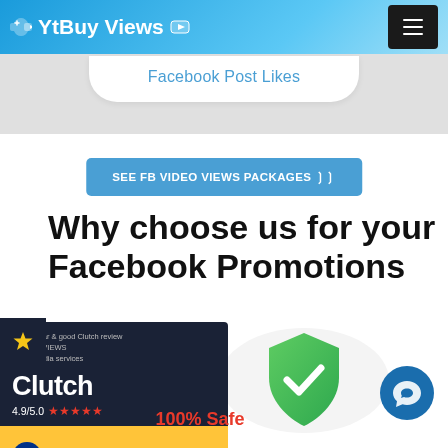YtBuy Views
Facebook Post Likes
SEE FB VIDEO VIEWS PACKAGES ❯❯
Why choose us for your Facebook Promotions
[Figure (logo): Clutch review card with 4.9/5.0 rating and PayPal payment badge]
[Figure (illustration): Green shield with checkmark indicating 100% Safe]
100% Safe
[Figure (illustration): Blue circular chat/support button]